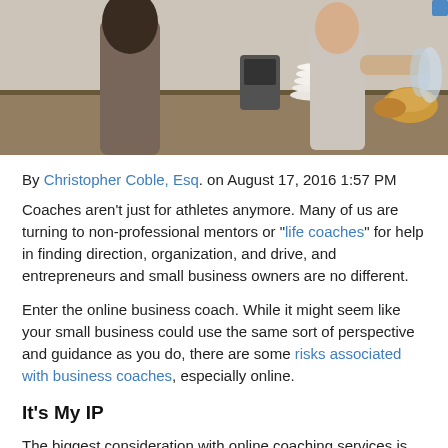[Figure (photo): Photo banner showing people in a restaurant or food service setting, with plates and food visible on a counter.]
By Christopher Coble, Esq. on August 17, 2016 1:57 PM Coaches aren't just for athletes anymore. Many of us are turning to non-professional mentors or "life coaches" for help in finding direction, organization, and drive, and entrepreneurs and small business owners are no different.
Enter the online business coach. While it might seem like your small business could use the same sort of perspective and guidance as you do, there are some risks associated with business coaches, especially online.
It's My IP
The biggest consideration with online coaching services is